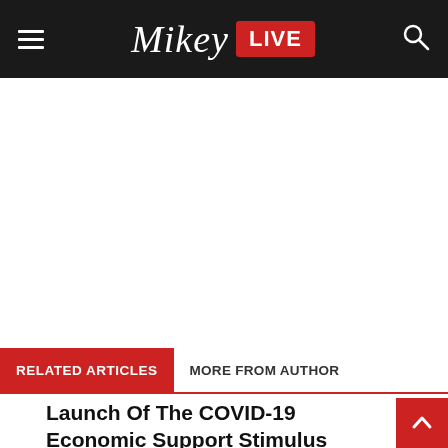Mikey LIVE — navigation header with hamburger menu, logo, and search icon
[Figure (other): Large white/blank advertisement or content area below the header]
RELATED ARTICLES   MORE FROM AUTHOR
Launch Of The COVID-19 Economic Support Stimulus Package – Phase III